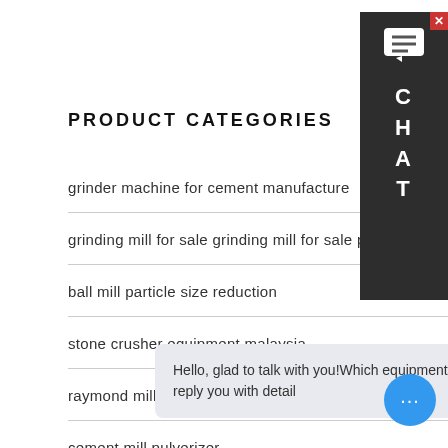PRODUCT CATEGORIES
grinder machine for cement manufacture
grinding mill for sale grinding mill for sale price
ball mill particle size reduction
stone crusher equipment malaysia
raymond mill flow diagram
cement mill pulverizer
central …
Hello, glad to talk with you!Which equipment you are looking for?Kindly leave your name and email add, we will reply you with detail